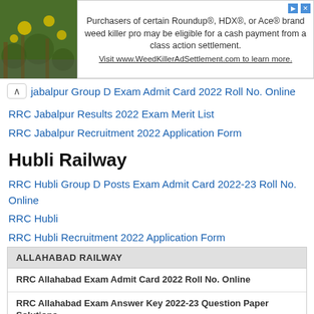[Figure (screenshot): Advertisement banner for WeedKillerAdSettlement.com with a plant background image on the left and text about Roundup, HDX, or Ace brand weed killer class action settlement.]
jabalpur Group D Exam Admit Card 2022 Roll No. Online
RRC Jabalpur Results 2022 Exam Merit List
RRC Jabalpur Recruitment 2022 Application Form
Hubli Railway
RRC Hubli Group D Posts Exam Admit Card 2022-23 Roll No. Online
RRC Hubli
RRC Hubli Recruitment 2022 Application Form
RRC Hubli Exam Results 2022 Merit List at rrchubli.in
RRC Hubli Exam Answer Key 2022 Question Paper Solutions
| ALLAHABAD RAILWAY |
| --- |
| RRC Allahabad Exam Admit Card 2022 Roll No. Online |
| RRC Allahabad Exam Answer Key 2022-23 Question Paper Solutions |
| RRC Allahabad Exam Results 2022 Merit List |
| RRC Allahabad Scouts & Guide, Cultural Quota Recruitment 2022 |